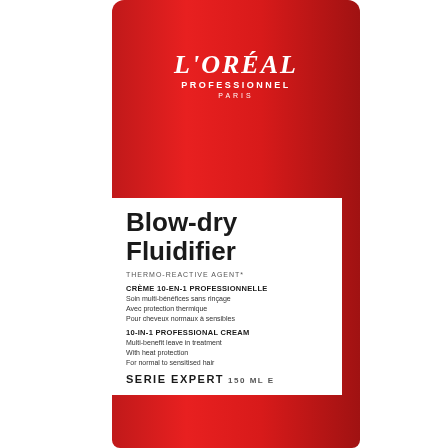[Figure (photo): L'Oreal Professionnel Blow-dry Fluidifier product bottle — a red cylindrical spray bottle with a white label showing the product name, descriptions in French and English, and the Serie Expert line branding.]
L'ORÉAL
PROFESSIONNEL
PARIS
Blow-dry Fluidifier
THERMO-REACTIVE AGENT*
CRÈME 10-EN-1 PROFESSIONNELLE
Soin multi-bénéfices sans rinçage
Avec protection thermique
Pour cheveux normaux à sensibles
10-IN-1 PROFESSIONAL CREAM
Multi-benefit leave in treatment
With heat protection
For normal to sensitised hair
SERIE EXPERT 150 ml e